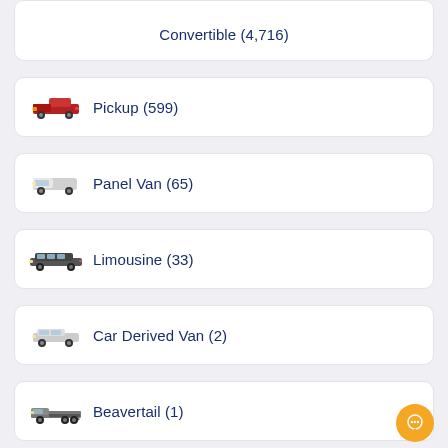Convertible (4,716)
Pickup (599)
Panel Van (65)
Limousine (33)
Car Derived Van (2)
Beavertail (1)